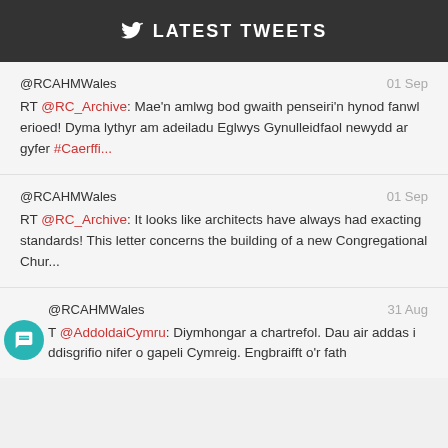LATEST TWEETS
@RCAHMWales 01 Sep RT @RC_Archive: Mae'n amlwg bod gwaith penseiri'n hynod fanwl erioed! Dyma lythyr am adeiladu Eglwys Gynulleidfaol newydd ar gyfer #Caerffi...
@RCAHMWales 01 Sep RT @RC_Archive: It looks like architects have always had exacting standards! This letter concerns the building of a new Congregational Chur...
@RCAHMWales 31 Aug T @AddoldaiCymru: Diymhongar a chartrefol. Dau air addas i ddisgrifio nifer o gapeli Cymreig. Engbraifft o'r fath